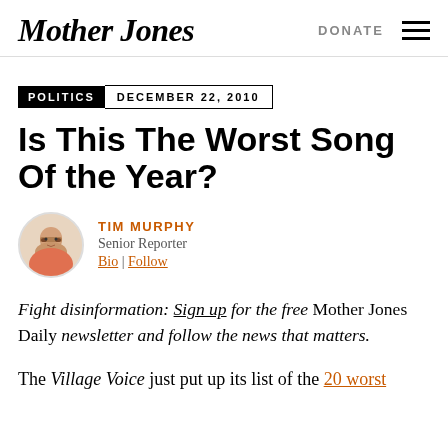Mother Jones | DONATE ☰
POLITICS  DECEMBER 22, 2010
Is This The Worst Song Of the Year?
TIM MURPHY
Senior Reporter
Bio | Follow
Fight disinformation: Sign up for the free Mother Jones Daily newsletter and follow the news that matters.
The Village Voice just put up its list of the 20 worst